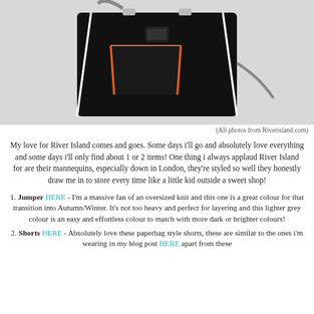[Figure (photo): Black tote bag with orange and white stripe details and silver hardware on a white/grey background]
(All photos from Riverisland.com)
My love for River Island comes and goes. Some days i'll go and absolutely love everything and some days i'll only find about 1 or 2 items! One thing i always applaud River Island for are their mannequins, especially down in London, they're styled so well they honestly draw me in to store every time like a little kid outside a sweet shop!
1. Jumper HERE - I'm a massive fan of an oversized knit and this one is a great colour for that transition into Autumn/Winter. It's not too heavy and perfect for layering and this lighter grey colour is an easy and effortless colour to match with more dark or brighter colours!
2. Shorts HERE - Absolutely love these paperbag style shorts, these are similar to the ones i'm wearing in my blog post HERE apart from these